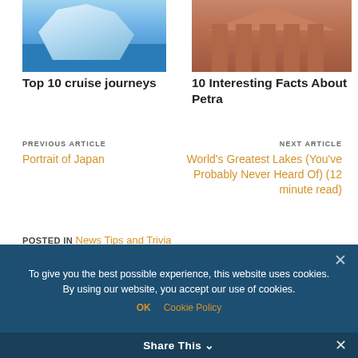[Figure (photo): Blue iceberg floating in water]
Top 10 cruise journeys
[Figure (photo): Stone facade of Petra ancient building in Jordan]
10 Interesting Facts About Petra
PREVIOUS ARTICLE
Portrait of Japan
NEXT ARTICLE
World's Greatest Lakes (You've Probably Never Heard Of) (12 minute read)
POSTED IN News Tips and Trivia
TAGGED Antarctica, South America
To give you the best possible experience, this website uses cookies. By using our website, you accept our use of cookies.
OK  Cookie Policy
Share This